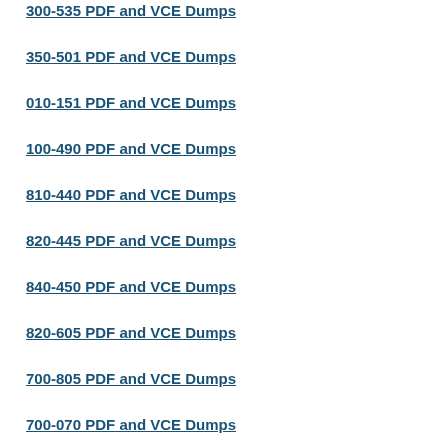300-535 PDF and VCE Dumps
350-501 PDF and VCE Dumps
010-151 PDF and VCE Dumps
100-490 PDF and VCE Dumps
810-440 PDF and VCE Dumps
820-445 PDF and VCE Dumps
840-450 PDF and VCE Dumps
820-605 PDF and VCE Dumps
700-805 PDF and VCE Dumps
700-070 PDF and VCE Dumps